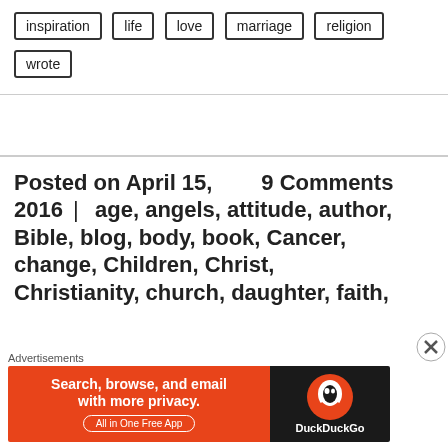inspiration
life
love
marriage
religion
wrote
Posted on April 15, 2016 | 9 Comments age, angels, attitude, author, Bible, blog, body, book, Cancer, change, Children, Christ, Christianity, church, daughter, faith,
Advertisements
[Figure (screenshot): DuckDuckGo advertisement banner: orange left panel with text 'Search, browse, and email with more privacy. All in One Free App' and dark right panel with DuckDuckGo logo]